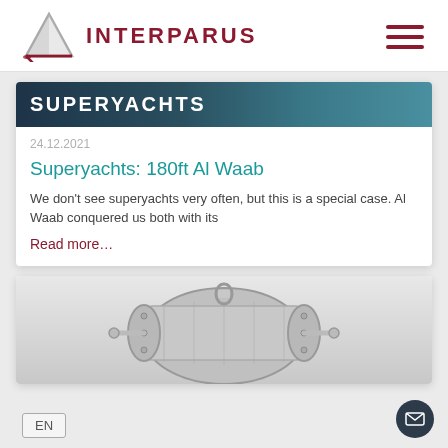[Figure (logo): Interparus logo with sail triangle icon and text INTERPARUS in dark red]
[Figure (illustration): Hamburger menu icon with three horizontal dark red bars]
SUPERYACHTS
24.12.2021
Superyachts: 180ft Al Waab
We don't see superyachts very often, but this is a special case. Al Waab conquered us both with its
Read more…
[Figure (photo): Partial view of a mechanical sailing equipment piece (winch or similar), silver/grey metallic, bottom of page]